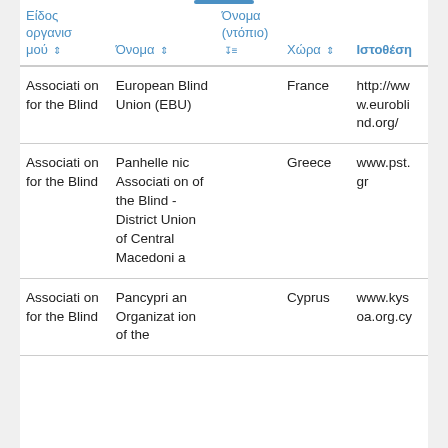| Είδος οργανισμού ⇕ | Όνομα ⇕ | Όνομα (ντόπιο) ⇕ | Χώρα ⇕ | Ιστοθέση |
| --- | --- | --- | --- | --- |
| Association for the Blind | European Blind Union (EBU) |  | France | http://www.eurobli nd.org/ |
| Association for the Blind | Panhellenic Association of the Blind - District Union of Central Macedonia |  | Greece | www.pst.gr |
| Association for the Blind | Pancyprian Organization of the |  | Cyprus | www.kysoa.org.cy |